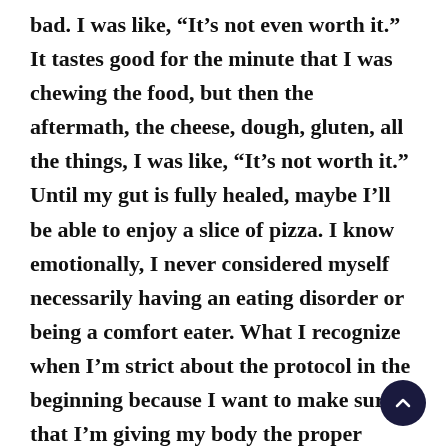bad. I was like, “It’s not even worth it.” It tastes good for the minute that I was chewing the food, but then the aftermath, the cheese, dough, gluten, all the things, I was like, “It’s not worth it.” Until my gut is fully healed, maybe I’ll be able to enjoy a slice of pizza. I know emotionally, I never considered myself necessarily having an eating disorder or being a comfort eater. What I recognize when I’m strict about the protocol in the beginning because I want to make sure that I’m giving my body the proper nutrients is that I would go to something that was easy and satisfying at the moment because it helped me to deal with whatever.